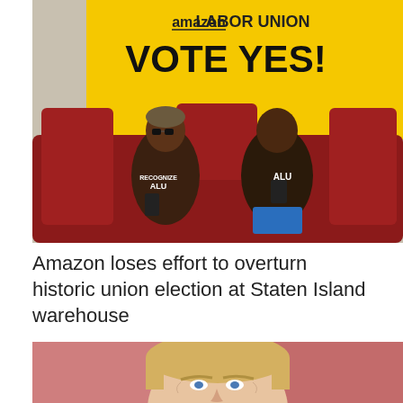[Figure (photo): Two people wearing black 'RECOGNIZE ALU' t-shirts sitting on a red couch in front of a yellow banner that reads 'amazon LABOR UNION VOTE YES!']
Amazon loses effort to overturn historic union election at Staten Island warehouse
[Figure (photo): Close-up photo of an older man with blonde hair against a blurred red background, partially cropped at bottom of page]